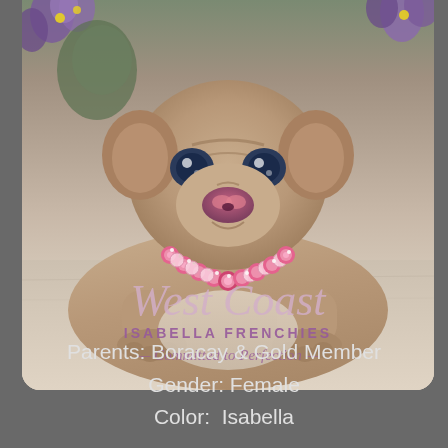[Figure (photo): French Bulldog puppy (Isabella color) wearing a pink sparkly beaded necklace, lying on a light stone surface with purple flowers in the background. Overlaid with West Coast Isabella Frenchies logo in script and sans-serif text.]
Parents: Boracay & Gold Member
Gender: Female
Color:  Isabella